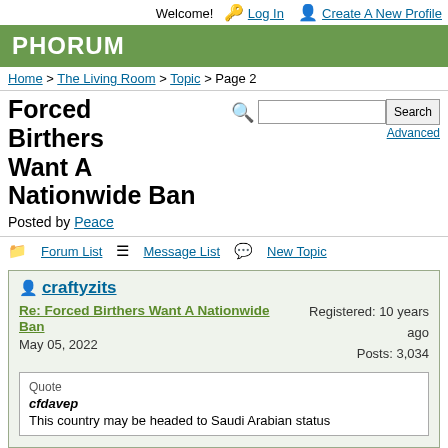Welcome! Log In  Create A New Profile
PHORUM
Home > The Living Room > Topic > Page 2
Forced Birthers Want A Nationwide Ban
Posted by Peace
Forum List  Message List  New Topic
craftyzits
Re: Forced Birthers Want A Nationwide Ban
May 05, 2022
Registered: 10 years ago
Posts: 3,034
Quote
cfdavep
This country may be headed to Saudi Arabian status
Now this article doesn't have a Talib...